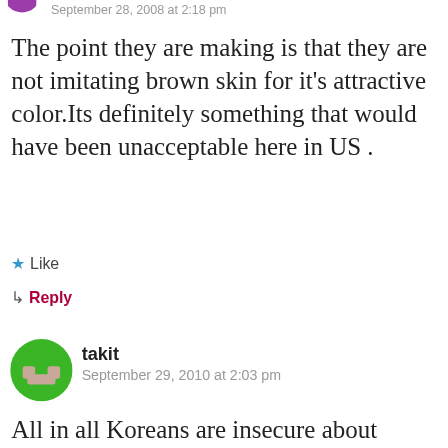September 28, 2008 at 2:18 pm
The point they are making is that they are not imitating brown skin for it's attractive color.Its definitely something that would have been unacceptable here in US .
★ Like
↳ Reply
takit
September 29, 2010 at 2:03 pm
All in all Koreans are insecure about